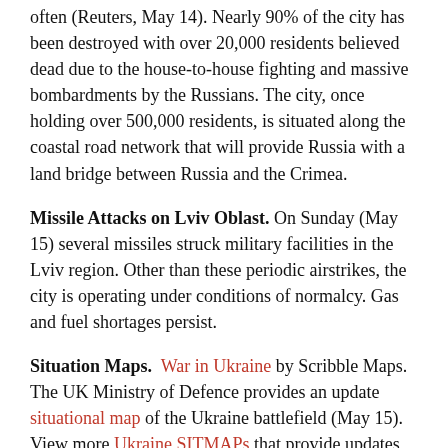often (Reuters, May 14). Nearly 90% of the city has been destroyed with over 20,000 residents believed dead due to the house-to-house fighting and massive bombardments by the Russians. The city, once holding over 500,000 residents, is situated along the coastal road network that will provide Russia with a land bridge between Russia and the Crimea.
Missile Attacks on Lviv Oblast. On Sunday (May 15) several missiles struck military facilities in the Lviv region. Other than these periodic airstrikes, the city is operating under conditions of normalcy. Gas and fuel shortages persist.
Situation Maps. War in Ukraine by Scribble Maps. The UK Ministry of Defence provides an update situational map of the Ukraine battlefield (May 15). View more Ukraine SITMAPs that provide updates on the disposition of Russian forces. And while we are discussing maps – NATO in 1990 vs 2015.
General Information
CRS Reports on Russia's Invasion of Ukraine. The